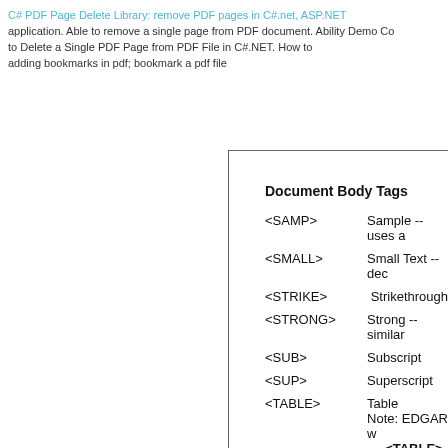C# PDF Page Delete Library: remove PDF pages in C#.net, ASP.NET application. Able to remove a single page from PDF document. Ability Demo Code to Delete a Single PDF Page from PDF File in C#.NET. How to adding bookmarks in pdf; bookmark a pdf file
Document Body Tags
| Tag | Description |
| --- | --- |
| <SAMP> | Sample -- uses a |
| <SMALL> | Small Text -- dec |
| <STRIKE> | Strikethrough |
| <STRONG> | Strong -- similar |
| <SUB> | Subscript |
| <SUP> | Superscript |
| <TABLE> | Table
Note: EDGAR w <TABLE> |
| <TD> | Table Data or Ce |
| <TH> | Table Header -- c |